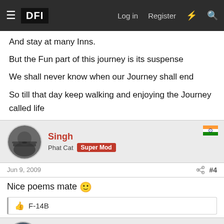DFI | Log in | Register
And stay at many Inns.
But the Fun part of this journey is its suspense
We shall never know when our Journey shall end
So till that day keep walking and enjoying the Journey called life
Singh
Phat Cat  Super Mod
Jun 9, 2009  #4
Nice poems mate 🙂
F-14B
F-14
Global Defence Moderator  Senior Member